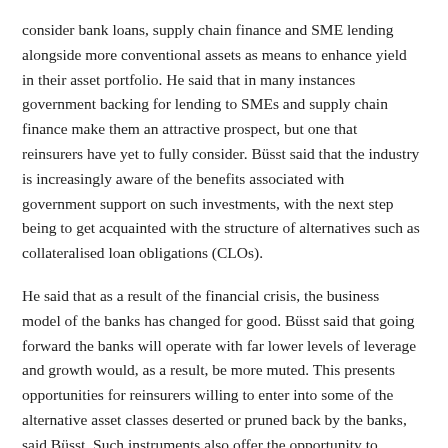consider bank loans, supply chain finance and SME lending alongside more conventional assets as means to enhance yield in their asset portfolio. He said that in many instances government backing for lending to SMEs and supply chain finance make them an attractive prospect, but one that reinsurers have yet to fully consider. Büsst said that the industry is increasingly aware of the benefits associated with government support on such investments, with the next step being to get acquainted with the structure of alternatives such as collateralised loan obligations (CLOs).
He said that as a result of the financial crisis, the business model of the banks has changed for good. Büsst said that going forward the banks will operate with far lower levels of leverage and growth would, as a result, be more muted. This presents opportunities for reinsurers willing to enter into some of the alternative asset classes deserted or pruned back by the banks, said Büsst. Such instruments also offer the opportunity to insulate reinsurers from interest rate shock, with CLOs offering floating rates, while bank loans, SME and supply chain finance are all of relatively short duration.